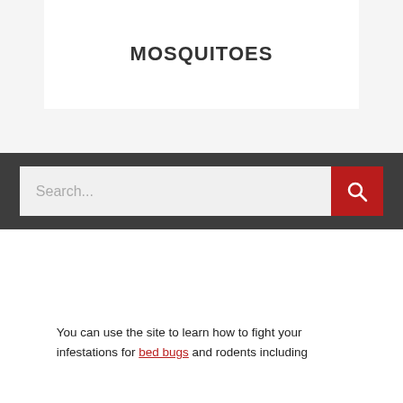MOSQUITOES
[Figure (screenshot): Search bar with text input showing placeholder 'Search...' and a red search button with magnifying glass icon, on a dark gray background]
You can use the site to learn how to fight your infestations for bed bugs and rodents including